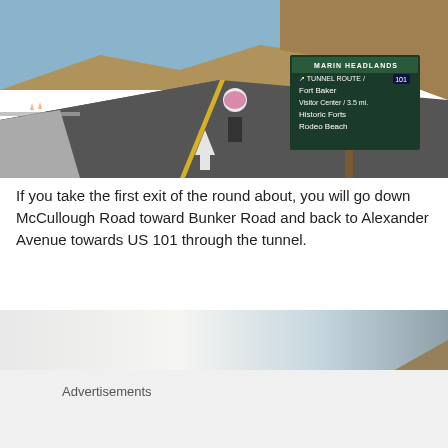[Figure (photo): Cyclist viewed from behind on a curved road with a Marin Headlands directional sign showing Tunnel Route / 101, Fort Baker, Visitor Center / 3.5 mi., Historic Forts, Rodeo Beach. Brown hills in background under blue sky.]
If you take the first exit of the round about, you will go down McCullough Road toward Bunker Road and back to Alexander Avenue towards US 101 through the tunnel.
[Figure (photo): Partial photo of a road scene with light-colored sky and hillside, partially obscured by an advertisement overlay with close button.]
Advertisements